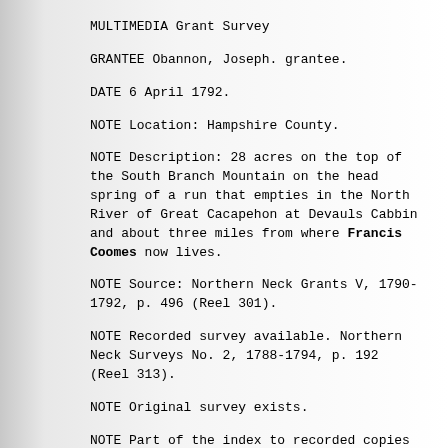MULTIMEDIA Grant Survey
GRANTEE Obannon, Joseph. grantee.
DATE 6 April 1792.
NOTE Location: Hampshire County.
NOTE Description: 28 acres on the top of the South Branch Mountain on the head spring of a run that empties in the North River of Great Cacapehon at Devauls Cabbin and about three miles from where Francis Coomes now lives.
NOTE Source: Northern Neck Grants V, 1790-1792, p. 496 (Reel 301).
NOTE Recorded survey available. Northern Neck Surveys No. 2, 1788-1794, p. 192 (Reel 313).
NOTE Original survey exists.
NOTE Part of the index to recorded copies of land grants issued by the agents of the Fairfax Proprietary between 1690 and 1781 and by the Commonwealth between 1786 and 1874. Original and recorded surveys are also indexed when available. The collection is housed in the Archives at